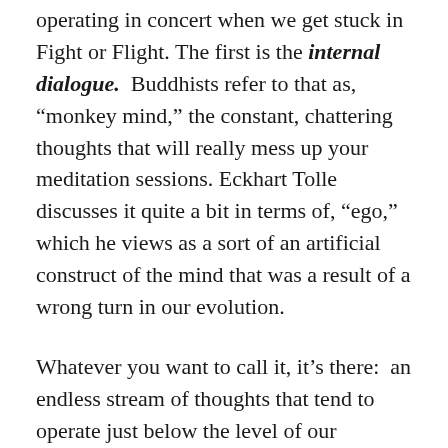operating in concert when we get stuck in Fight or Flight. The first is the internal dialogue. Buddhists refer to that as, “monkey mind,” the constant, chattering thoughts that will really mess up your meditation sessions. Eckhart Tolle discusses it quite a bit in terms of, “ego,” which he views as a sort of an artificial construct of the mind that was a result of a wrong turn in our evolution.
Whatever you want to call it, it’s there:  an endless stream of thoughts that tend to operate just below the level of our conscious control.  And we really can’t do much about that.  As Emily Fletcher says in Stress Less, Accomplish More: The 15-Minute Meditation Programme for Extraordinary Performance the